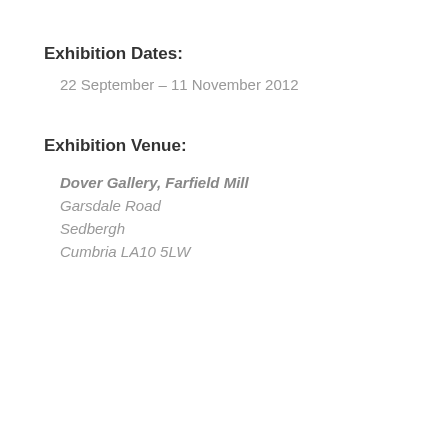Exhibition Dates:
22 September – 11 November 2012
Exhibition Venue:
Dover Gallery, Farfield Mill
Garsdale Road
Sedbergh
Cumbria LA10 5LW